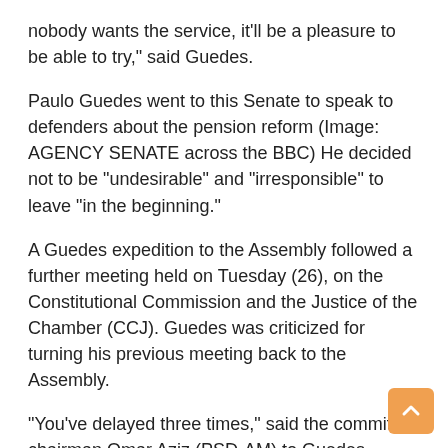nobody wants the service, it'll be a pleasure to be able to try," said Guedes.
Paulo Guedes went to this Senate to speak to defenders about the pension reform (Image: AGENCY SENATE across the BBC) He decided not to be "undesirable" and "irresponsible" to leave "in the beginning."
A Guedes expedition to the Assembly followed a further meeting held on Tuesday (26), on the Constitutional Commission and the Justice of the Chamber (CCJ). Guedes was criticized for turning his previous meeting back to the Assembly.
"You've delayed three times," said the committee chairman Omar Aziz (PSD-AM) to Guedes.
It was agreed to appear at House next Wednesday (3).
In nearly four hours of listeners, Guedes stressed the importance of reform.